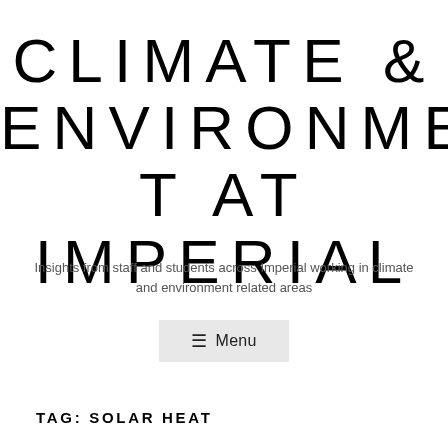CLIMATE & ENVIRONMENT AT IMPERIAL
Insights from staff and students across Imperial working in climate and environment related areas
≡ Menu
TAG: SOLAR HEAT